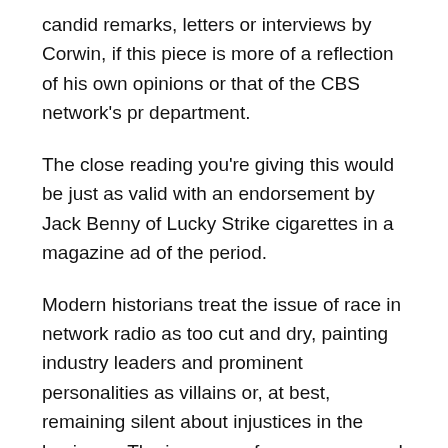candid remarks, letters or interviews by Corwin, if this piece is more of a reflection of his own opinions or that of the CBS network's pr department.
The close reading you're giving this would be just as valid with an endorsement by Jack Benny of Lucky Strike cigarettes in a magazine ad of the period.
Modern historians treat the issue of race in network radio as too cut and dry, painting industry leaders and prominent personalities as villains or, at best, remaining silent about injustices in the business. The issue was far more nuanced and complicated.
When you fall asleep in class, the teacher US…